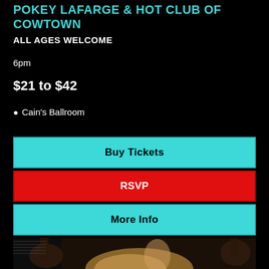POKEY LAFARGE & HOT CLUB OF COWTOWN
ALL AGES WELCOME
6pm
$21 to $42
📍 Cain's Ballroom
Buy Tickets
RSVP
More Info
[Figure (photo): A blonde woman photographed in a dark setting with musical instruments (guitars) visible in the background]